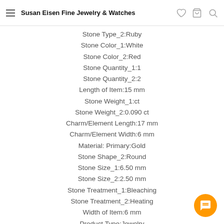Susan Eisen Fine Jewelry & Watches
Stone Type_2:Ruby
Stone Color_1:White
Stone Color_2:Red
Stone Quantity_1:1
Stone Quantity_2:2
Length of Item:15 mm
Stone Weight_1:ct
Stone Weight_2:0.090 ct
Charm/Element Length:17 mm
Charm/Element Width:6 mm
Material: Primary:Gold
Stone Shape_2:Round
Stone Size_1:6.50 mm
Stone Size_2:2.50 mm
Stone Treatment_1:Bleaching
Stone Treatment_2:Heating
Width of Item:6 mm
Product Type:Jewelry
Jewelry Type:Earrings